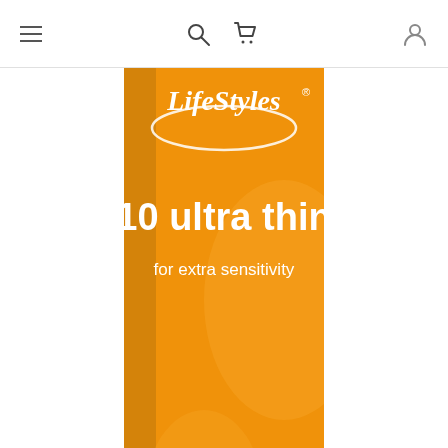Navigation bar with hamburger menu, search, cart, and user icons
[Figure (photo): LifeStyles 10 Ultra Thin condom box, orange packaging with white text reading '10 ultra thin for extra sensitivity', LifeStyles brand logo, and a 100% electronically tested shield badge]
SKU: 360093
Availability: 4 in stock
Ultra Thin 10's
$11.95